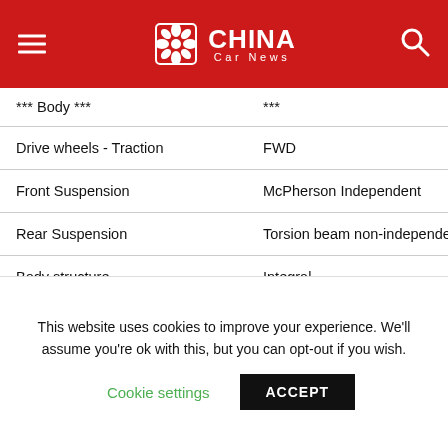China Car News
| Attribute | Value |
| --- | --- |
| *** Body *** | *** |
| Drive wheels - Traction | FWD |
| Front Suspension | McPherson Independent |
| Rear Suspension | Torsion beam non-independent |
| Body structure | Integral |
| Front Brakes | Vented Discs |
| Rear Brakes | Discs |
| Front Tyres | 215/65 R16 |
This website uses cookies to improve your experience. We'll assume you're ok with this, but you can opt-out if you wish.
Cookie settings  ACCEPT